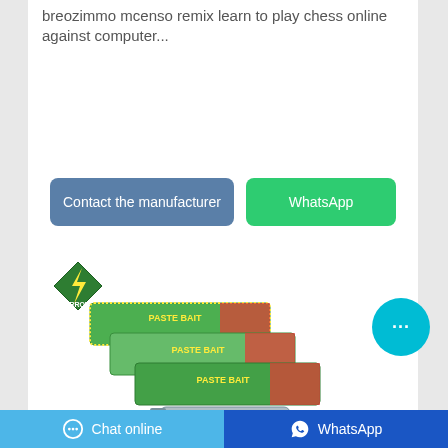breozimmo mcenso remix learn to play chess online against computer...
[Figure (screenshot): Contact the manufacturer button (blue) and WhatsApp button (green)]
[Figure (logo): Arrow brand logo - green diamond shape with lightning bolt]
[Figure (photo): Arrow Paste Bait product - three stacked green/yellow boxes and a syringe]
[Figure (other): Cyan chat bubble with three dots icon]
Chat online | WhatsApp